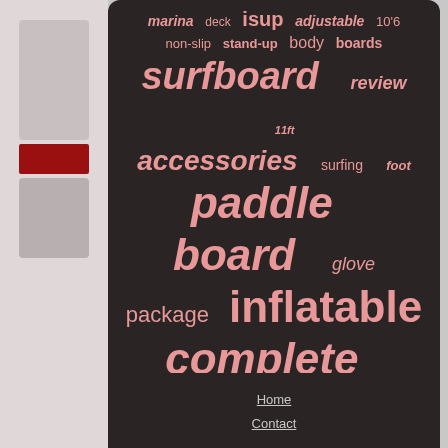[Figure (other): Word cloud on dark background with salmon/pink colored words related to paddleboarding and water sports. Words include: marina, deck, isup, adjustable, 10'6, non-slip, stand-up, body, boards, surfboard, review, 11ft, accessories, surfing, foot, paddle, board, glove, package, inflatable, complete, stand, premium, thick, pump, bestway, 10ft, backpack, water, surf, ancheer, aqua, paddleboard, blue, kayak]
Home
Contact